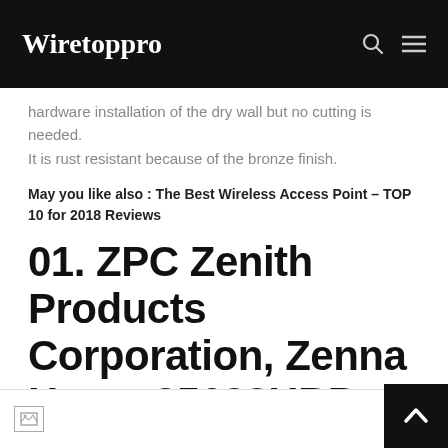Wiretoppro
hardware installation of the dry wall but no cutting is needed. It is rust resistant because of the bronze finish.
May you like also : The Best Wireless Access Point – TOP 10 for 2018 Reviews
01. ZPC Zenith Products Corporation, Zenna Home 35633HBP Aluminium Tension Curved Shower Curtain Rod
[Figure (photo): Product image placeholder at bottom of page]